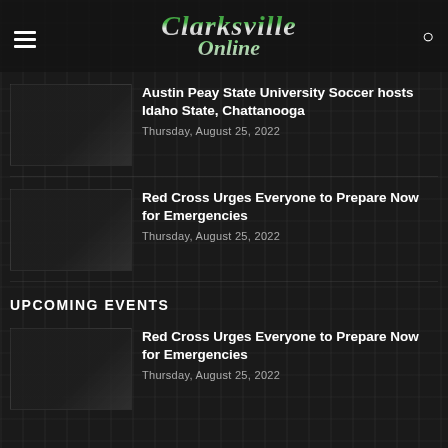Clarksville Online
Austin Peay State University Soccer hosts Idaho State, Chattanooga
Thursday, August 25, 2022
Red Cross Urges Everyone to Prepare Now for Emergencies
Thursday, August 25, 2022
UPCOMING EVENTS
Red Cross Urges Everyone to Prepare Now for Emergencies
Thursday, August 25, 2022